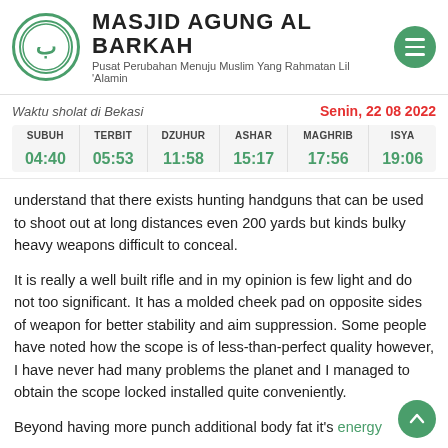MASJID AGUNG AL BARKAH — Pusat Perubahan Menuju Muslim Yang Rahmatan Lil 'Alamin
| SUBUH | TERBIT | DZUHUR | ASHAR | MAGHRIB | ISYA |
| --- | --- | --- | --- | --- | --- |
| 04:40 | 05:53 | 11:58 | 15:17 | 17:56 | 19:06 |
understand that there exists hunting handguns that can be used to shoot out at long distances even 200 yards but kinds bulky heavy weapons difficult to conceal.
It is really a well built rifle and in my opinion is few light and do not too significant. It has a molded cheek pad on opposite sides of weapon for better stability and aim suppression. Some people have noted how the scope is of less-than-perfect quality however, I have never had many problems the planet and I managed to obtain the scope locked installed quite conveniently.
Beyond having more punch additional body fat it's energy